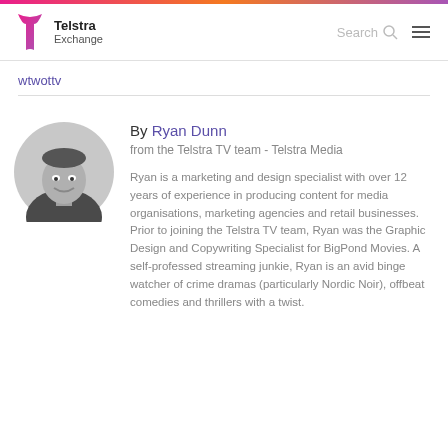Telstra Exchange — Search
wtwottv
[Figure (photo): Circular black-and-white portrait photo of Ryan Dunn, smiling man in a dark shirt, outdoors background]
By Ryan Dunn
from the Telstra TV team - Telstra Media
Ryan is a marketing and design specialist with over 12 years of experience in producing content for media organisations, marketing agencies and retail businesses. Prior to joining the Telstra TV team, Ryan was the Graphic Design and Copywriting Specialist for BigPond Movies. A self-professed streaming junkie, Ryan is an avid binge watcher of crime dramas (particularly Nordic Noir), offbeat comedies and thrillers with a twist.